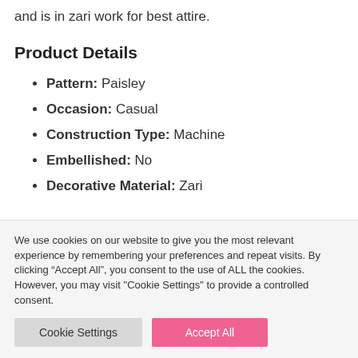and is in zari work for best attire.
Product Details
Pattern: Paisley
Occasion: Casual
Construction Type: Machine
Embellished: No
Decorative Material: Zari
We use cookies on our website to give you the most relevant experience by remembering your preferences and repeat visits. By clicking “Accept All”, you consent to the use of ALL the cookies. However, you may visit "Cookie Settings" to provide a controlled consent.